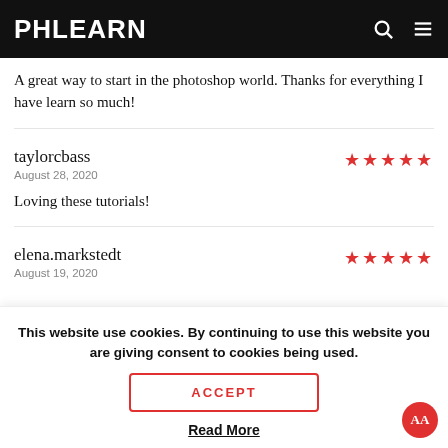PHLEARN
A great way to start in the photoshop world. Thanks for everything I have learn so much!
taylorcbass
August 28, 2020
Loving these tutorials!
elena.markstedt
August 19, 2020
This website use cookies. By continuing to use this website you are giving consent to cookies being used.
ACCEPT
Read More